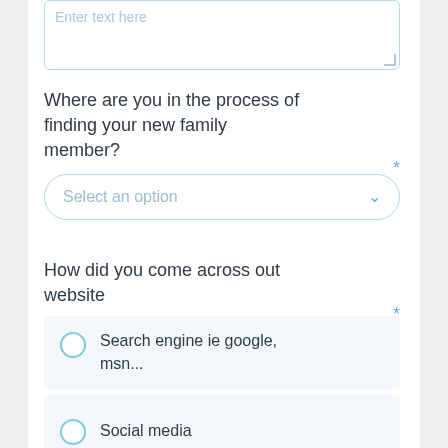Enter text here
Where are you in the process of finding your new family member?
Select an option
How did you come across out website
Search engine ie google, msn...
Social media
Recommended